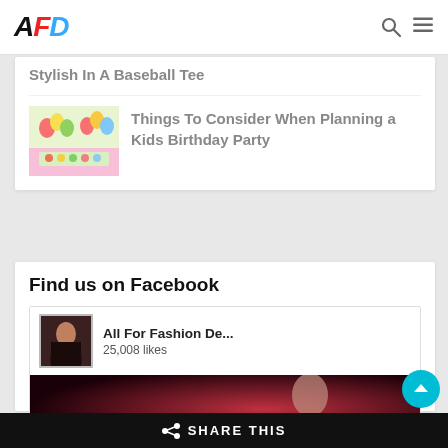AFD
Stylish In A Baseball Tee
[Figure (photo): Kids birthday party decoration with colorful balloons and candy table]
Things To Consider When Planning a Kids Birthday Party
Find us on Facebook
[Figure (screenshot): Facebook page widget for All For Fashion De... showing 25,008 likes with Like Page and Share buttons]
SHARE THIS